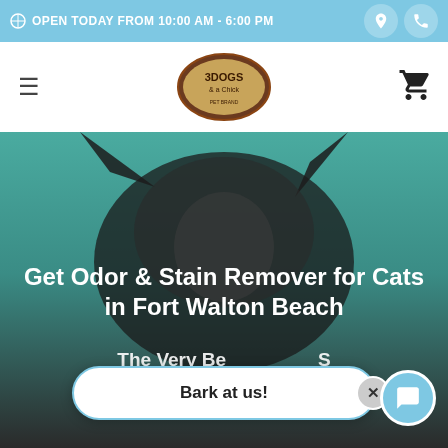OPEN TODAY FROM 10:00 AM - 6:00 PM
[Figure (logo): 3 Dogs & a Chick pet brand oval logo with animal illustrations]
[Figure (photo): Black cat with ears visible against a teal/green background, hero image for pet store website]
Get Odor & Stain Remover for Cats in Fort Walton Beach
The Very Best Odor & Stain Remover sold In-Store Pickup, Curbside Pickup, Local
Bark at us!